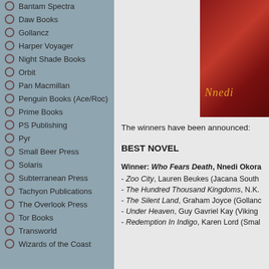Bantam Spectra
Daw Books
Gollancz
Harper Voyager
Night Shade Books
Orbit
Pan Macmillan
Penguin Books (Ace/Roc)
Prime Books
PS Publishing
Pyr
Small Beer Press
Solaris
Subterranean Press
Tachyon Publications
The Overlook Press
Tor Books
Transworld
Wizards of the Coast
[Figure (photo): Book cover of Who Fears Death by Nnedi Okorafor, red background with partial author name visible]
The winners have been announced:
BEST NOVEL
Winner: Who Fears Death, Nnedi Okora...
- Zoo City, Lauren Beukes (Jacana South...
- The Hundred Thousand Kingdoms, N.K....
- The Silent Land, Graham Joyce (Gollanc...
- Under Heaven, Guy Gavriel Kay (Viking...
- Redemption In Indigo, Karen Lord (Smal...